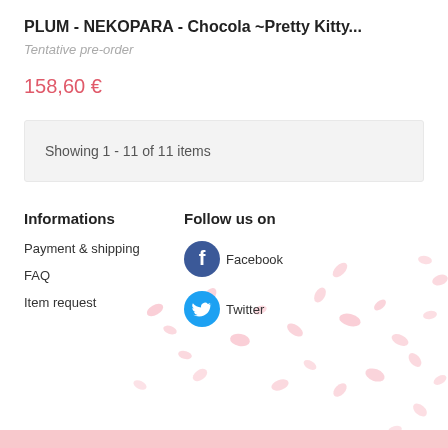PLUM - NEKOPARA - Chocola ~Pretty Kitty...
Tentative pre-order
158,60 €
Showing 1 - 11 of 11 items
Informations
Payment & shipping
FAQ
Item request
Follow us on
Facebook
Twitter